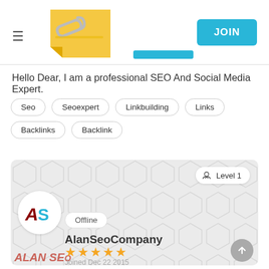JOIN
[Figure (logo): Yellow sticky note with paper clip icon - website logo]
Hello Dear, I am a professional SEO And Social Media Expert.
Seo
Seoexpert
Linkbuilding
Links
Backlinks
Backlink
[Figure (other): User profile card with hexagon pattern background, Level 1 badge, AS logo avatar, Offline status, AlanSeoCompany username, 5 stars, Joined Dec 22 2015]
AlanSeoCompany
Joined Dec 22, 2015